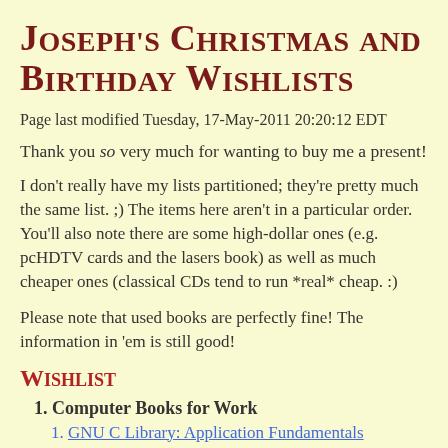Joseph's Christmas and Birthday Wishlists
Page last modified Tuesday, 17-May-2011 20:20:12 EDT
Thank you so very much for wanting to buy me a present!
I don't really have my lists partitioned; they're pretty much the same list. ;) The items here aren't in a particular order. You'll also note there are some high-dollar ones (e.g. pcHDTV cards and the lasers book) as well as much cheaper ones (classical CDs tend to run *real* cheap. :)
Please note that used books are perfectly fine! The information in 'em is still good!
Wishlist
Computer Books for Work
GNU C Library: Application Fundamentals